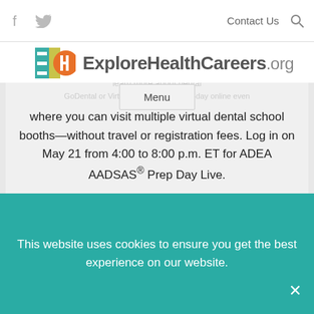ExploreHealthCareers.org — Contact Us navigation bar with social icons (Facebook, Twitter), Contact Us link, search icon, and Menu button
[Figure (logo): ExploreHealthCareers.org logo with colorful EHC icon and site name]
where you can visit multiple virtual dental school booths—without travel or registration fees. Log in on May 21 from 4:00 to 8:00 p.m. ET for ADEA AADSAS® Prep Day Live.
DETAILS
JUNE 2017
This website uses cookies to ensure you get the best experience on our website.